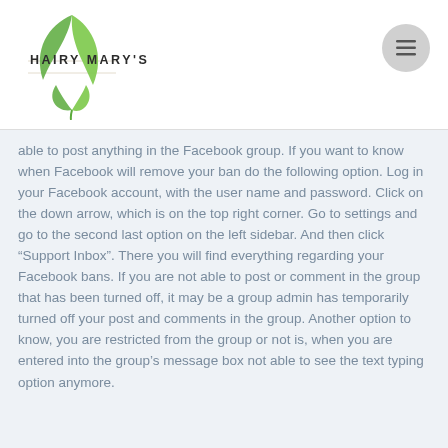HAIRY MARY'S
able to post anything in the Facebook group. If you want to know when Facebook will remove your ban do the following option. Log in your Facebook account, with the user name and password. Click on the down arrow, which is on the top right corner. Go to settings and go to the second last option on the left sidebar. And then click “Support Inbox”. There you will find everything regarding your Facebook bans. If you are not able to post or comment in the group that has been turned off, it may be a group admin has temporarily turned off your post and comments in the group. Another option to know, you are restricted from the group or not is, when you are entered into the group’s message box not able to see the text typing option anymore.